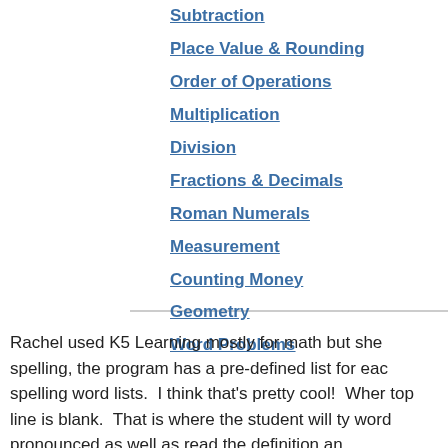Subtraction
Place Value & Rounding
Order of Operations
Multiplication
Division
Fractions & Decimals
Roman Numerals
Measurement
Counting Money
Geometry
Word Problems
Rachel used K5 Learning mostly for math but she spelling, the program has a pre-defined list for each spelling word lists.  I think that's pretty cool!  When top line is blank.  That is where the student will type word pronounced as well as read the definition an